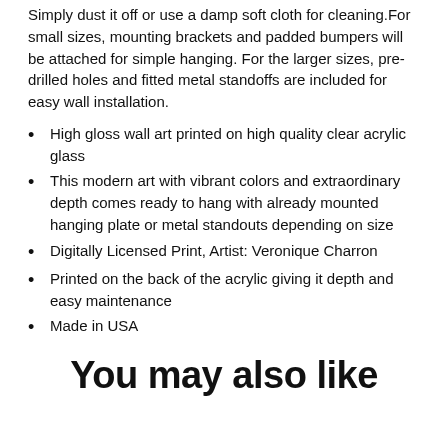Simply dust it off or use a damp soft cloth for cleaning.For small sizes, mounting brackets and padded bumpers will be attached for simple hanging. For the larger sizes, pre-drilled holes and fitted metal standoffs are included for easy wall installation.
High gloss wall art printed on high quality clear acrylic glass
This modern art with vibrant colors and extraordinary depth comes ready to hang with already mounted hanging plate or metal standouts depending on size
Digitally Licensed Print, Artist: Veronique Charron
Printed on the back of the acrylic giving it depth and easy maintenance
Made in USA
You may also like